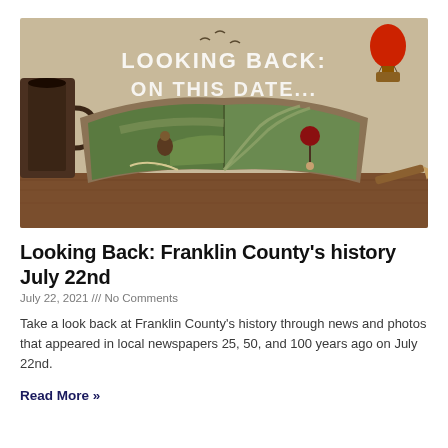[Figure (illustration): Surreal illustration of an open book with a green landscape scene inside it, including miniature figures, a winding road, a hot air balloon, and items on a wooden desk. Text overlay reads 'LOOKING BACK: ON THIS DATE...' in white stencil letters.]
Looking Back: Franklin County's history July 22nd
July 22, 2021 /// No Comments
Take a look back at Franklin County's history through news and photos that appeared in local newspapers 25, 50, and 100 years ago on July 22nd.
Read More »